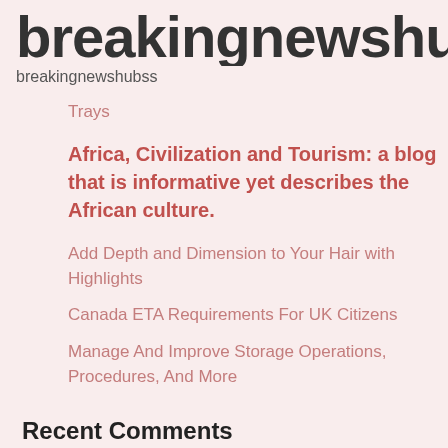breakingnewshu
breakingnewshubss
Trays
Africa, Civilization and Tourism: a blog that is informative yet describes the African culture.
Add Depth and Dimension to Your Hair with Highlights
Canada ETA Requirements For UK Citizens
Manage And Improve Storage Operations, Procedures, And More
Recent Comments